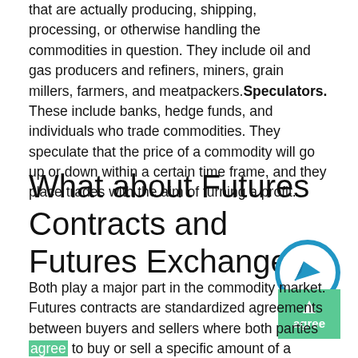that are actually producing, shipping, processing, or otherwise handling the commodities in question. They include oil and gas producers and refiners, miners, grain millers, farmers, and meatpackers. Speculators. These include banks, hedge funds, and individuals who trade commodities. They speculate that the price of a commodity will go up or down within a certain time frame, and they place trades with the aim of turning a profit.
What about Futures Contracts and Futures Exchanges?
Both play a major part in the commodity market. Futures contracts are standardized agreements between buyers and sellers where both parties agree to buy or sell a specific amount of a particular commodity at a predetermined price, at a specific
[Figure (illustration): A circular icon with a blue border and white background containing a paper airplane / send icon pointing to the upper right, in blue.]
[Figure (illustration): A green square button with a white upward arrow and the word 'agree' in white text.]